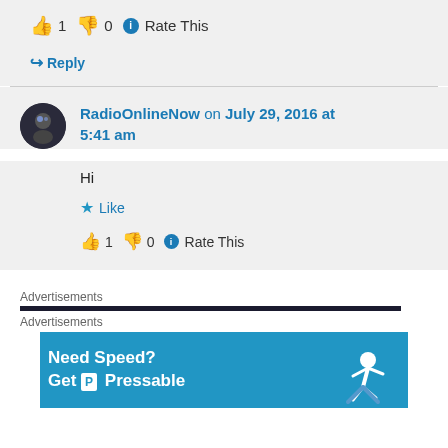👍 1 👎 0 ℹ Rate This
↪ Reply
RadioOnlineNow on July 29, 2016 at 5:41 am
Hi
★ Like
👍 1 👎 0 ℹ Rate This
Advertisements
[Figure (screenshot): Pressable advertisement banner with blue background showing 'Need Speed? Get P Pressable' with a person flying/running figure on the right]
Advertisements